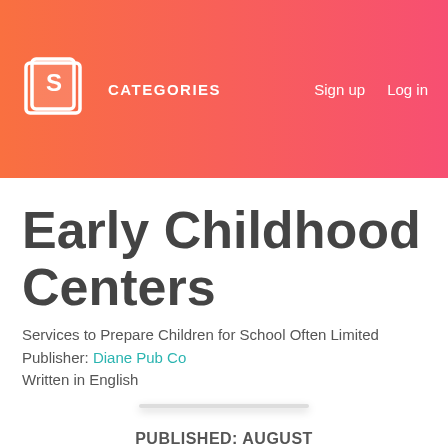CATEGORIES   Sign up   Log in
Early Childhood Centers
Services to Prepare Children for School Often Limited
Publisher: Diane Pub Co
Written in English
PUBLISHED: AUGUST
1995 DOWNLOADS: 559